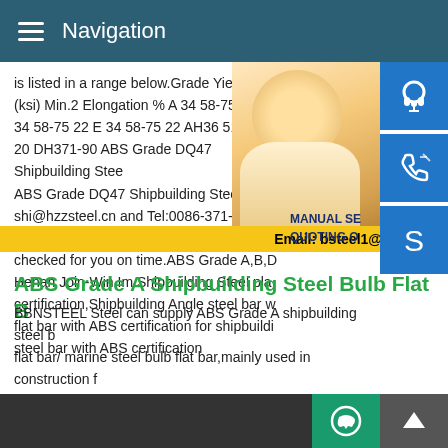Navigation
is listed in a range below.Grade Yield Point (ksi) Min.2 Elongation % A 34 58-75 22 B 34 58-75 22 E 34 58-75 22 AH36 51 71-90 20 DH36 51 71-90 ABS Grade DQ47 Shipbuilding Steel... ABS Grade DQ47 Shipbuilding Steel Plate shi@hzzsteel.cn and Tel:0086-371-65652... any request or doubts,Please send message... checked for you on time.ABS Grade A,B,D... Henan Join-Win Im Shipbuilding Steel pla... certification,Shipbuilding Angle steel bar w... flat bar with ABS certification for shipbuilding... steel bar with ABS certification
ABS Grade A Shipbuilding Steel Bulb Flat B...
BBNSTEEL Steel can supply ABS Grade A shipbuilding steel b... flat bar/ marine steel bulb flat bar,mainly used in construction f...